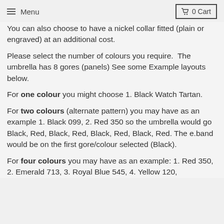Menu  0 Cart
You can also choose to have a nickel collar fitted (plain or engraved) at an additional cost.
Please select the number of colours you require.  The umbrella has 8 gores (panels) See some Example layouts below.
For one colour you might choose 1. Black Watch Tartan.
For two colours (alternate pattern) you may have as an example 1. Black 099, 2. Red 350 so the umbrella would go Black, Red, Black, Red, Black, Red, Black, Red. The e.band would be on the first gore/colour selected (Black).
For four colours you may have as an example: 1. Red 350, 2. Emerald 713, 3. Royal Blue 545, 4. Yellow 120,